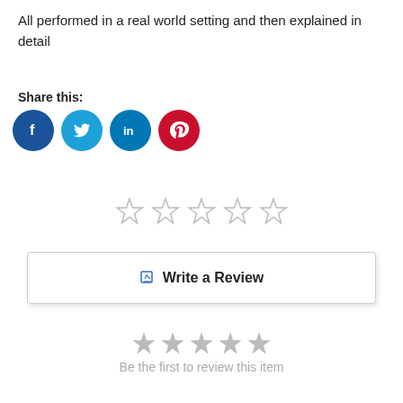All performed in a real world setting and then explained in detail
Share this:
[Figure (infographic): Four social media share icon circles: Facebook (dark blue, f), Twitter (light blue, bird), LinkedIn (teal/blue, in), Pinterest (red, p)]
[Figure (other): Five empty/outline star rating icons in a row]
Write a Review
[Figure (other): Five filled grey star rating icons in a row]
Be the first to review this item